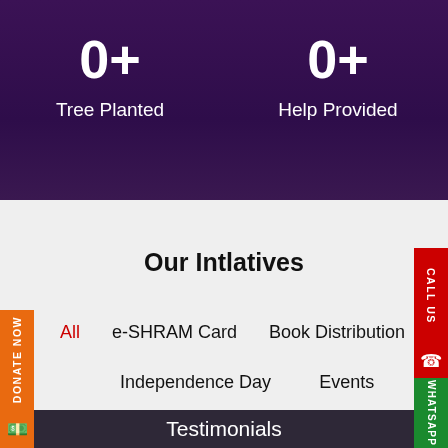0+
Tree Planted
0+
Help Provided
Our Intlatives
All  e-SHRAM Card  Book Distribution  Independence Day  Events
Testimonials